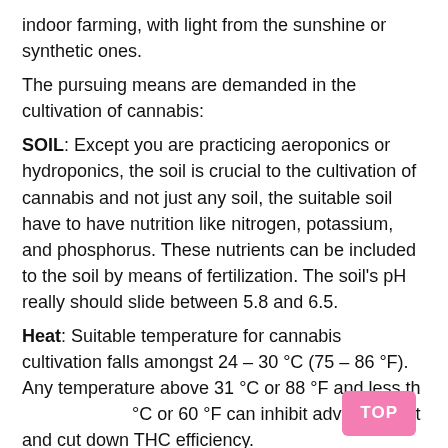indoor farming, with light from the sunshine or synthetic ones.
The pursuing means are demanded in the cultivation of cannabis:
SOIL: Except you are practicing aeroponics or hydroponics, the soil is crucial to the cultivation of cannabis and not just any soil, the suitable soil have to have nutrition like nitrogen, potassium, and phosphorus. These nutrients can be included to the soil by means of fertilization. The soil’s pH really should slide between 5.8 and 6.5.
Heat: Suitable temperature for cannabis cultivation falls amongst 24 – 30 °C (75 – 86 °F). Any temperature above 31 °C or 88 °F and less than 15 °C or 60 °F can inhibit advancement and cut down THC efficiency.